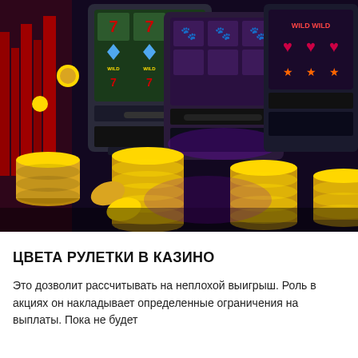[Figure (photo): Casino slot machines with colorful screens showing 7s, diamonds, and wild symbols, set against a dark background with stacks of gold coins in the foreground and a red city skyline on the left.]
ЦВЕТА РУЛЕТКИ В КАЗИНО
Это дозволит рассчитывать на неплохой выигрыш. Роль в акциях он накладывает определенные ограничения на выплаты. Пока не будет